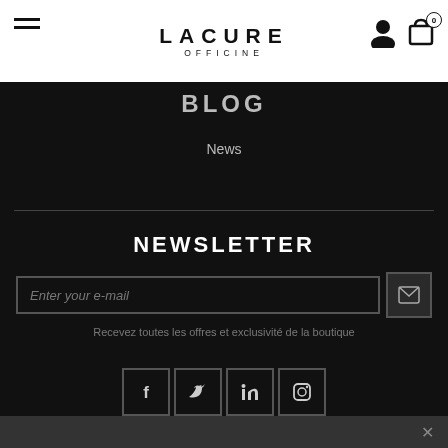LACURE OFFICINE
BLOG
News
NEWSLETTER
Enter your e-mail
Recevez toutes les offres et exclusivité de la boutique
[Figure (infographic): Social media icons: Facebook, Twitter, LinkedIn, Instagram]